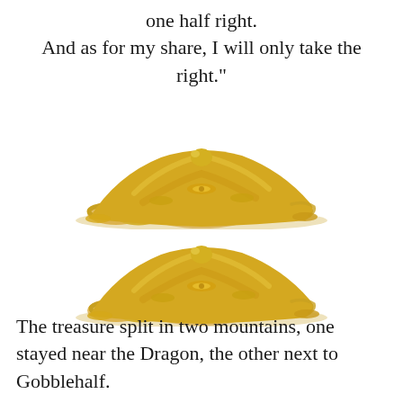one half right.
And as for my share, I will only take the right."
[Figure (illustration): A pile of gold coins, rings, and jewelry treasure]
[Figure (illustration): A second pile of gold coins, rings, and jewelry treasure]
The treasure split in two mountains, one stayed near the Dragon, the other next to Gobblehalf.